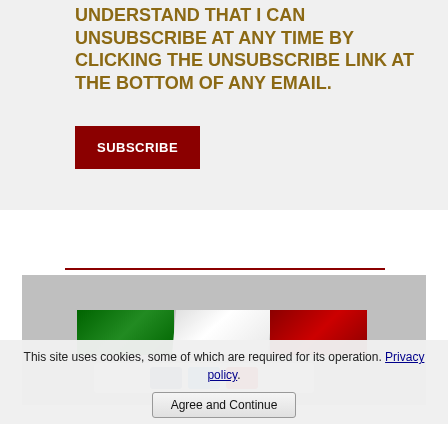UNDERSTAND THAT I CAN UNSUBSCRIBE AT ANY TIME BY CLICKING THE UNSUBSCRIBE LINK AT THE BOTTOM OF ANY EMAIL.
[Figure (screenshot): Dark red SUBSCRIBE button]
[Figure (photo): Italian flag (green, white, red horizontal tricolor) displayed on a gray background section]
[Figure (screenshot): Social media icons bar: Facebook (blue), Twitter (cyan), YouTube (red)]
This site uses cookies, some of which are required for its operation. Privacy policy.
[Figure (screenshot): Agree and Continue button]